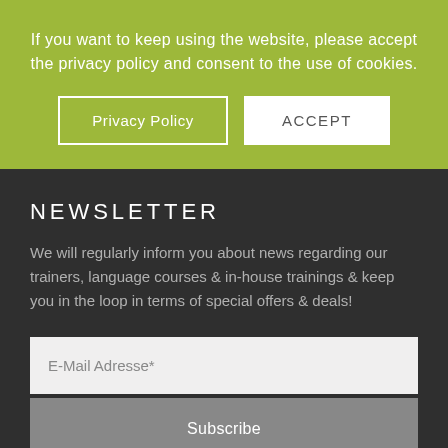If you want to keep using the website, please accept the privacy policy and consent to the use of cookies.
[Figure (screenshot): Cookie consent banner with two buttons: 'Privacy Policy' (outlined) and 'ACCEPT' (white filled) on a yellow-green background]
NEWSLETTER
We will regularly inform you about news regarding our trainers, language courses & in-house trainings & keep you in the loop in terms of special offers & deals!
E-Mail Adresse*
Subscribe